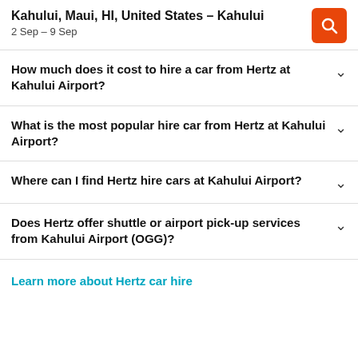Kahului, Maui, HI, United States – Kahului
2 Sep – 9 Sep
How much does it cost to hire a car from Hertz at Kahului Airport?
What is the most popular hire car from Hertz at Kahului Airport?
Where can I find Hertz hire cars at Kahului Airport?
Does Hertz offer shuttle or airport pick-up services from Kahului Airport (OGG)?
Learn more about Hertz car hire